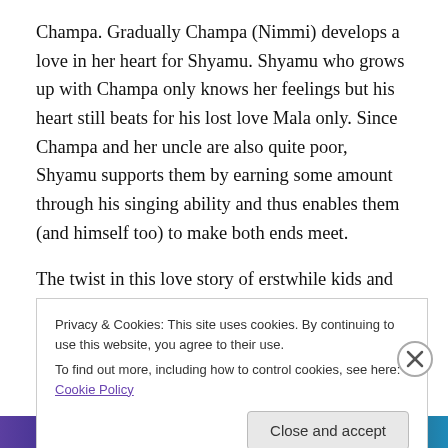Champa. Gradually Champa (Nimmi) develops a love in her heart for Shyamu. Shyamu who grows up with Champa only knows her feelings but his heart still beats for his lost love Mala only. Since Champa and her uncle are also quite poor, Shyamu supports them by earning some amount through his singing ability and thus enables them (and himself too) to make both ends meet.
The twist in this love story of erstwhile kids and now adults, comes when a reputed doctor hears Shyamu's singing and feels sorry for his blindness. He is Dr. Kishore
Privacy & Cookies: This site uses cookies. By continuing to use this website, you agree to their use.
To find out more, including how to control cookies, see here: Cookie Policy